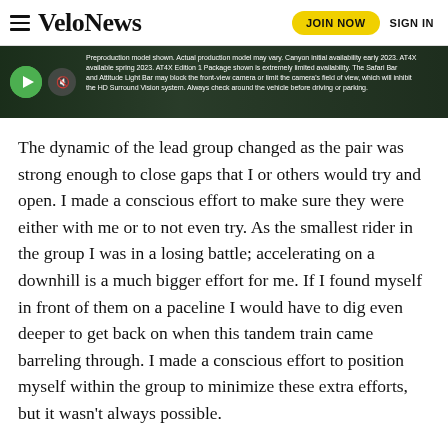VeloNews — JOIN NOW   SIGN IN
[Figure (screenshot): Video player banner with dark background showing a Nissan AT4X vehicle, with play button and mute button overlaid. Text reads: 'Preproduction model shown. Actual production model may vary. Canyon initial availability early 2023. AT4X available spring 2023. AT4X Edition 1 Package shown is extremely limited availability. The Safari Bar and Attitude Light Bar may block the front-view camera or limit the camera's field of view, which will inhibit the HD Surround Vision system. Always check around the vehicle before driving or parking.']
The dynamic of the lead group changed as the pair was strong enough to close gaps that I or others would try and open. I made a conscious effort to make sure they were either with me or to not even try. As the smallest rider in the group I was in a losing battle; accelerating on a downhill is a much bigger effort for me. If I found myself in front of them on a paceline I would have to dig even deeper to get back on when this tandem train came barreling through. I made a conscious effort to position myself within the group to minimize these extra efforts, but it wasn't always possible.
After 100 miles, during a headwind moment, the tandem riders